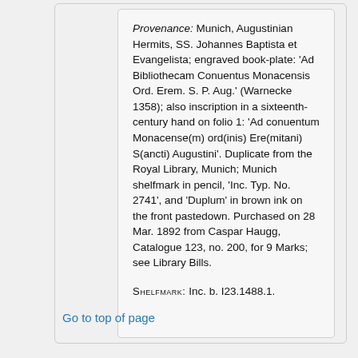Provenance: Munich, Augustinian Hermits, SS. Johannes Baptista et Evangelista; engraved book-plate: 'Ad Bibliothecam Conuentus Monacensis Ord. Erem. S. P. Aug.' (Warnecke 1358); also inscription in a sixteenth-century hand on folio 1: 'Ad conuentum Monacense(m) ord(inis) Ere(mitani) S(ancti) Augustini'. Duplicate from the Royal Library, Munich; Munich shelfmark in pencil, 'Inc. Typ. No. 2741', and 'Duplum' in brown ink on the front pastedown. Purchased on 28 Mar. 1892 from Caspar Haugg, Catalogue 123, no. 200, for 9 Marks; see Library Bills.
SHELFMARK: Inc. b. I23.1488.1.
Go to top of page